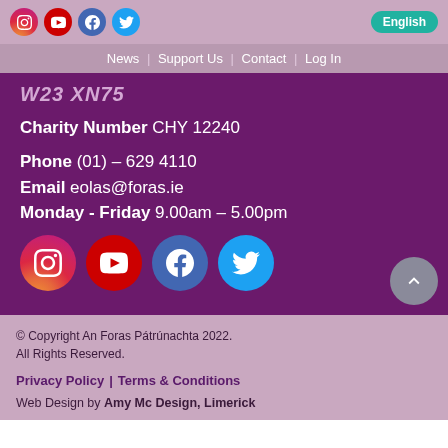Social icons (Instagram, YouTube, Facebook, Twitter) | English button | Navigation: News | Support Us | Contact | Log In
W23 XN75
Charity Number CHY 12240
Phone (01) – 629 4110
Email eolas@foras.ie
Monday - Friday 9.00am – 5.00pm
[Figure (illustration): Social media icons bottom: Instagram, YouTube, Facebook, Twitter circular icons]
© Copyright An Foras Pátrúnachta 2022. All Rights Reserved.
Privacy Policy | Terms & Conditions
Web Design by Amy Mc Design, Limerick